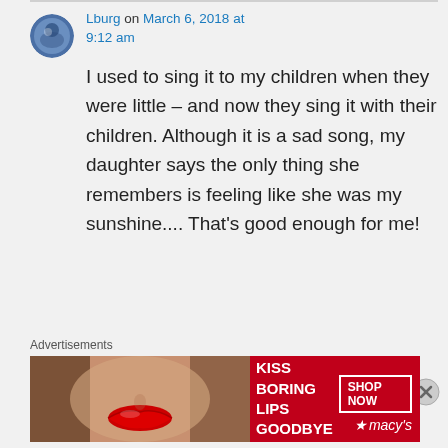Lburg on March 6, 2018 at 9:12 am
I used to sing it to my children when they were little – and now they sing it with their children. Although it is a sad song, my daughter says the only thing she remembers is feeling like she was my sunshine.... That's good enough for me!
Advertisements
[Figure (photo): Macy's advertisement banner: 'Kiss Boring Lips Goodbye' with red lips photo and 'Shop Now' button with Macy's logo]